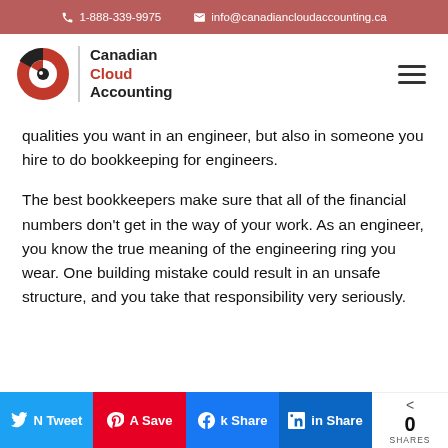1-888-339-9975   info@canadiancloudaccounting.ca
[Figure (logo): Canadian Cloud Accounting logo with red and black circular icon and text]
qualities you want in an engineer, but also in someone you hire to do bookkeeping for engineers.
The best bookkeepers make sure that all of the financial numbers don't get in the way of your work. As an engineer, you know the true meaning of the engineering ring you wear. One building mistake could result in an unsafe structure, and you take that responsibility very seriously.
Twitter share | Pinterest share | Facebook share | LinkedIn share | 0 SHARES